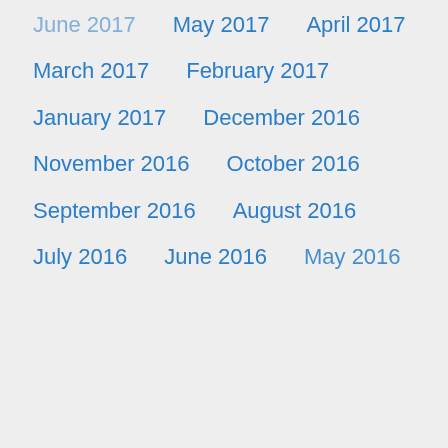June 2017
May 2017
April 2017
March 2017
February 2017
January 2017
December 2016
November 2016
October 2016
September 2016
August 2016
July 2016
June 2016
May 2016